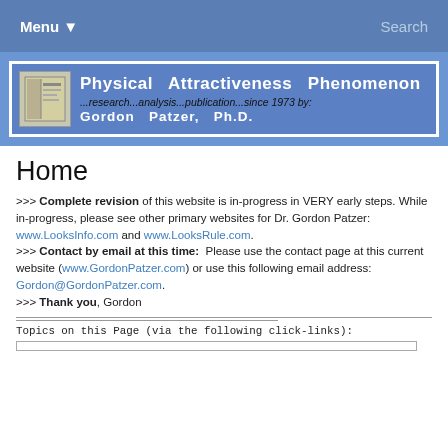Menu ▼   Search
[Figure (other): Physical Attractiveness Phenomenon website banner. Blue background with white text reading 'Physical Attractiveness Phenomenon', subtitle '...research...analysis...publication...since 1973 by:' and 'Gordon Patzer, Ph.D.' with a small book image on the left.]
Home
>>> Complete revision of this website is in-progress in VERY early steps. While in-progress, please see other primary websites for Dr. Gordon Patzer: www.LooksInfo.com and www.LooksRule.com.
>>> Contact by email at this time: Please use the contact page at this current website (www.GordonPatzer.com) or use this following email address: Gordon@GordonPatzer.com.
>>> Thank you, Gordon
Topics on this Page (via the following click-links):